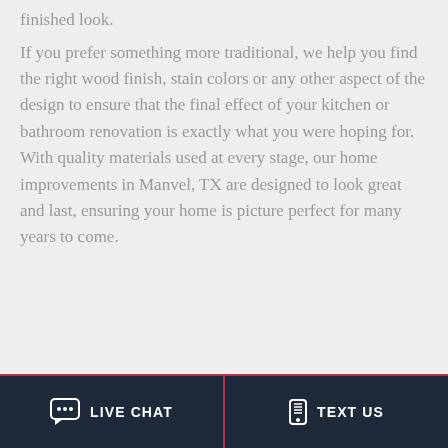finished look.
If you prefer something more traditional, we help you find the right wood finish, stain colors or any other aspect of the design to ensure that the final effect of your kitchen or bathroom renovation is exactly what you were hoping for. With quality materials used at every stage, our home improvements in Manvel, TX are designed to look great and last, ensuring your home is picture perfect for many years to come.
LIVE CHAT   TEXT US